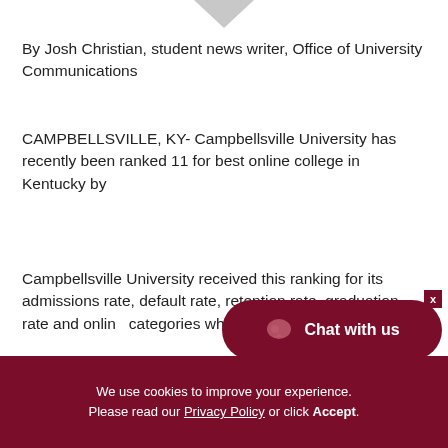[Figure (logo): Campbellsville University chevron/shield logo top portion visible]
By Josh Christian, student news writer, Office of University Communications
CAMPBELLSVILLE, KY- Campbellsville University has recently been ranked 11 for best online college in Kentucky by
Campbellsville University received this ranking for its admissions rate, default rate, retention rate, graduation rate and online categories which the Best program.
[Figure (other): Chat with us widget button (dark red pill-shaped button with speech bubble icon and text 'Chat with us')]
We use cookies to improve your experience. Please read our Privacy Policy or click Accept.